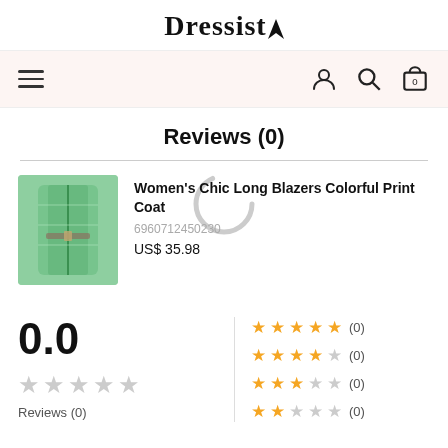Dressist
[Figure (screenshot): Navigation bar with hamburger menu on left and user, search, cart icons on right, pink background]
Reviews (0)
[Figure (photo): Women's Chic Long Blazers Colorful Print Coat product thumbnail - green/teal printed blazer]
Women's Chic Long Blazers Colorful Print Coat
6960712450230
US$ 35.98
0.0
Reviews (0)
5 stars (0)
4 stars (0)
3 stars (0)
2 stars (0)